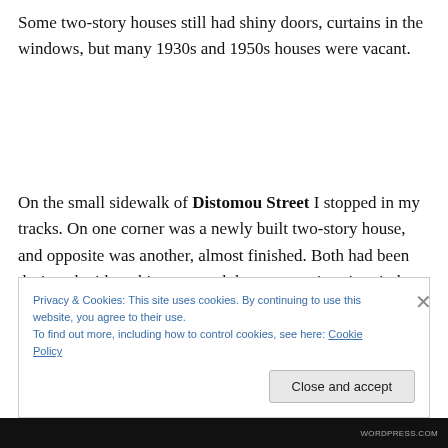Some two-story houses still had shiny doors, curtains in the windows, but many 1930s and 1950s houses were vacant.
On the small sidewalk of Distomou Street I stopped in my tracks. On one corner was a newly built two-story house, and opposite was another, almost finished. Both had been designed with architecture and decor magazines in mind.
Privacy & Cookies: This site uses cookies. By continuing to use this website, you agree to their use.
To find out more, including how to control cookies, see here: Cookie Policy
WORDPRESS.COM